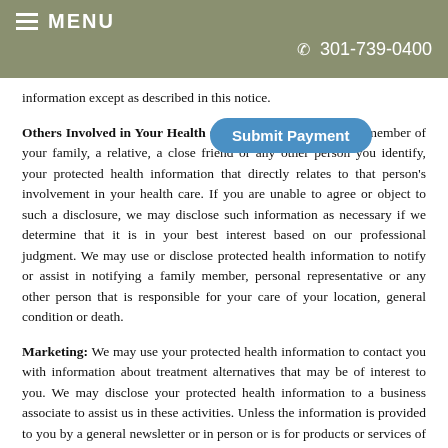MENU  301-739-0400
information except as described in this notice.
Others Involved in Your Health Care: We may disclose to a member of your family, a relative, a close friend or any other person you identify, your protected health information that directly relates to that person's involvement in your health care. If you are unable to agree or object to such a disclosure, we may disclose such information as necessary if we determine that it is in your best interest based on our professional judgment. We may use or disclose protected health information to notify or assist in notifying a family member, personal representative or any other person that is responsible for your care of your location, general condition or death.
Marketing: We may use your protected health information to contact you with information about treatment alternatives that may be of interest to you. We may disclose your protected health information to a business associate to assist us in these activities. Unless the information is provided to you by a general newsletter or in person or is for products or services of nominal value, you may opt out of receiving further such information by telling us